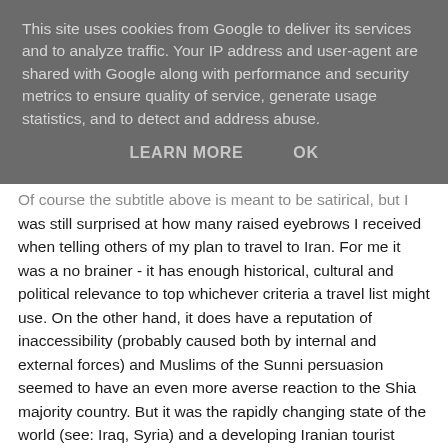This site uses cookies from Google to deliver its services and to analyze traffic. Your IP address and user-agent are shared with Google along with performance and security metrics to ensure quality of service, generate usage statistics, and to detect and address abuse.
LEARN MORE   OK
Of course the subtitle above is meant to be satirical, but I was still surprised at how many raised eyebrows I received when telling others of my plan to travel to Iran. For me it was a no brainer - it has enough historical, cultural and political relevance to top whichever criteria a travel list might use. On the other hand, it does have a reputation of inaccessibility (probably caused both by internal and external forces) and Muslims of the Sunni persuasion seemed to have an even more averse reaction to the Shia majority country. But it was the rapidly changing state of the world (see: Iraq, Syria) and a developing Iranian tourist cottage industry that convinced me to check out the place sooner rather than later. That and a real sense of ignorance about the place - of course it goes without saying that its not the evil place western (and some religious) media tells us it is, but it would have been equally